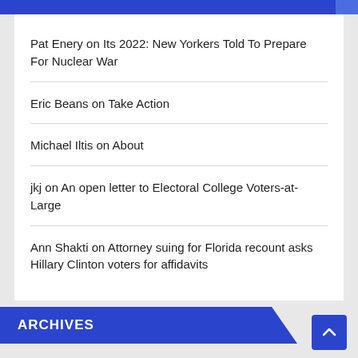Pat Enery on Its 2022: New Yorkers Told To Prepare For Nuclear War
Eric Beans on Take Action
Michael Iltis on About
jkj on An open letter to Electoral College Voters-at-Large
Ann Shakti on Attorney suing for Florida recount asks Hillary Clinton voters for affidavits
ARCHIVES